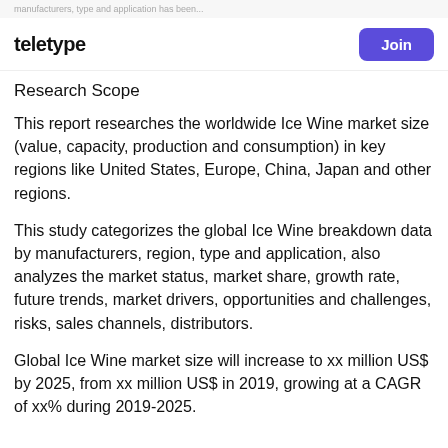manufacturers, type and application has been...
teletype | Join
Research Scope
This report researches the worldwide Ice Wine market size (value, capacity, production and consumption) in key regions like United States, Europe, China, Japan and other regions.
This study categorizes the global Ice Wine breakdown data by manufacturers, region, type and application, also analyzes the market status, market share, growth rate, future trends, market drivers, opportunities and challenges, risks, sales channels, distributors.
Global Ice Wine market size will increase to xx million US$ by 2025, from xx million US$ in 2019, growing at a CAGR of xx% during 2019-2025.